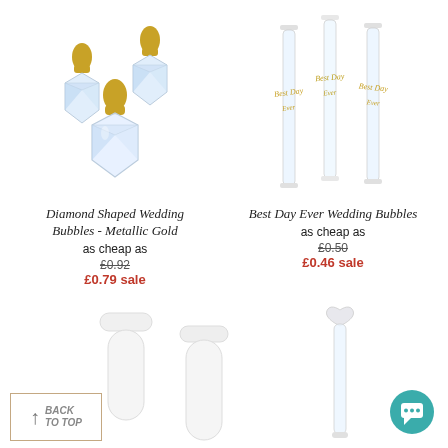[Figure (photo): Diamond shaped wedding bubble bottles with metallic gold tops, three bottles shown]
Diamond Shaped Wedding Bubbles - Metallic Gold
as cheap as £0.92 £0.79 sale
[Figure (photo): Best Day Ever Wedding Bubbles - thin tube shaped bottles with gold text, three shown]
Best Day Ever Wedding Bubbles
as cheap as £0.50 £0.46 sale
[Figure (photo): Two white round bubble bottles partially visible at bottom left]
[Figure (photo): Thin clear bubble wand tube partially visible at bottom right]
BACK TO TOP